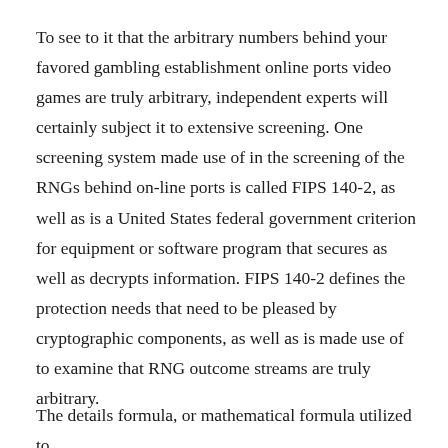To see to it that the arbitrary numbers behind your favored gambling establishment online ports video games are truly arbitrary, independent experts will certainly subject it to extensive screening. One screening system made use of in the screening of the RNGs behind on-line ports is called FIPS 140-2, as well as is a United States federal government criterion for equipment or software program that secures as well as decrypts information. FIPS 140-2 defines the protection needs that need to be pleased by cryptographic components, as well as is made use of to examine that RNG outcome streams are truly arbitrary.
The details formula, or mathematical formula utilized to